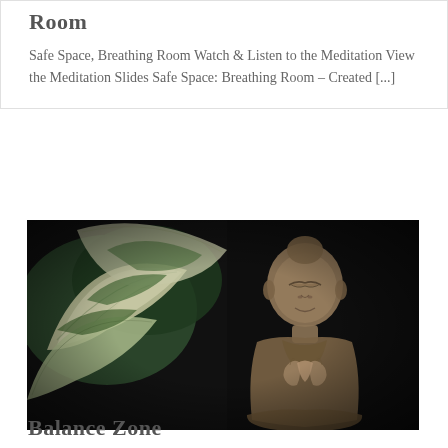Room
Safe Space, Breathing Room Watch & Listen to the Meditation View the Meditation Slides Safe Space: Breathing Room – Created [...]
[Figure (photo): A stone Buddha statue in a prayer pose surrounded by large green and white variegated leaves against a dark background]
Balance Zone